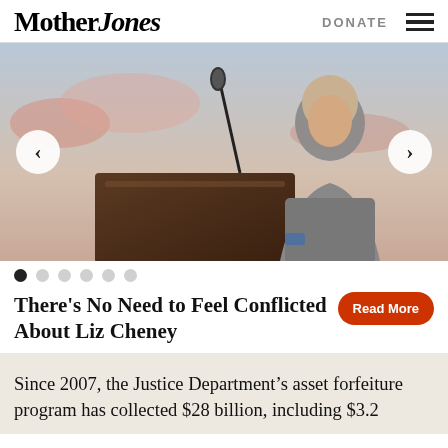Mother Jones
[Figure (photo): Woman at a podium with a microphone, speaking at an event. Carousel navigation arrows visible on left and right.]
There's No Need to Feel Conflicted About Liz Cheney
Read More
Since 2007, the Justice Department's asset forfeiture program has collected $28 billion, including $3.2